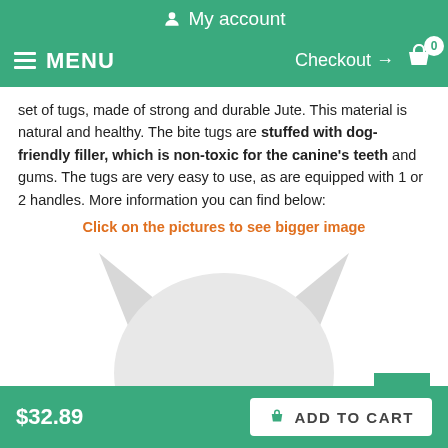My account
MENU  Checkout → 0
set of tugs, made of strong and durable Jute. This material is natural and healthy. The bite tugs are stuffed with dog-friendly filler, which is non-toxic for the canine's teeth and gums. The tugs are very easy to use, as are equipped with 1 or 2 handles. More information you can find below:
Click on the pictures to see bigger image
[Figure (photo): White stuffed dog head/toy wearing a yellow collar, viewed from behind/top]
$32.89  ADD TO CART